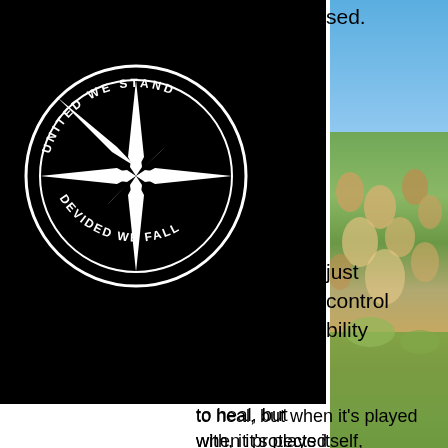[Figure (logo): Circular logo with compass star design, text reading UNITED WE STAND at top and DEVIDED WE FALL at bottom, black background with white design]
[Figure (photo): Outdoor crowd scene with people sitting on grass at what appears to be an outdoor event or festival, blue sky with trees in background]
sed.
just control bility
to heal, but when it's played with, it protects itself, causing so many problems, sickness and even death.
Why are these people allowed to manipulate our entire world reeking havoc for the human race? Why do we allow them to play god with our lives, our children and their future?
“If you're talking about chem trails, that's a conspiracy theory”...
My dear, it's conspiracy fact...